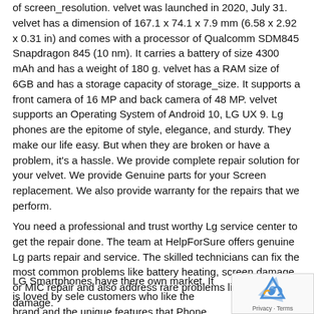of screen_resolution. velvet was launched in 2020, July 31. velvet has a dimension of 167.1 x 74.1 x 7.9 mm (6.58 x 2.92 x 0.31 in) and comes with a processor of Qualcomm SDM845 Snapdragon 845 (10 nm). It carries a battery of size 4300 mAh and has a weight of 180 g. velvet has a RAM size of 6GB and has a storage capacity of storage_size. It supports a front camera of 16 MP and back camera of 48 MP. velvet supports an Operating System of Android 10, LG UX 9. Lg phones are the epitome of style, elegance, and sturdy. They make our life easy. But when they are broken or have a problem, it's a hassle. We provide complete repair solution for your velvet. We provide Genuine parts for your Screen replacement. We also provide warranty for the repairs that we perform.
You need a professional and trust worthy Lg service center to get the repair done. The team at HelpForSure offers genuine Lg parts repair and service. The skilled technicians can fix the most common problems like battery heating, screen damage, or MIC repair and also address rare problems like water damage.
LG Smartphones have there own market. It is loved by sele customers who like the brand and the unique features that Phone brand provides.